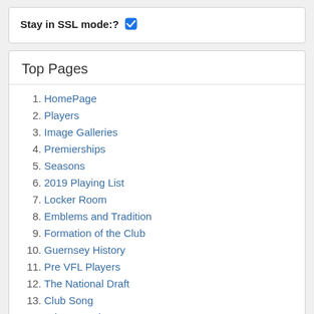Stay in SSL mode:? ☑
Top Pages
1. HomePage
2. Players
3. Image Galleries
4. Premierships
5. Seasons
6. 2019 Playing List
7. Locker Room
8. Emblems and Tradition
9. Formation of the Club
10. Guernsey History
11. Pre VFL Players
12. The National Draft
13. Club Song
14. Princes Park
15. Alex Jesaulenko
16. Season Galleries
17. Mark Maclure
18. Chris Judd
19. Bruce Doull
20. 1927...